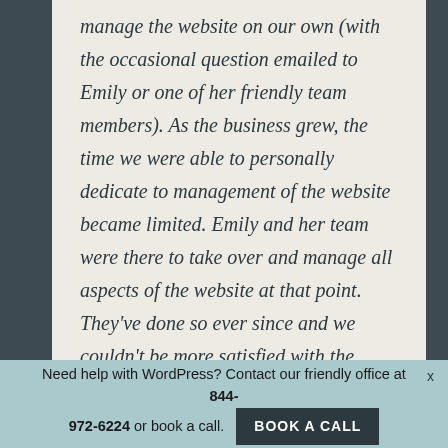manage the website on our own (with the occasional question emailed to Emily or one of her friendly team members). As the business grew, the time we were able to personally dedicate to management of the website became limited. Emily and her team were there to take over and manage all aspects of the website at that point. They've done so ever since and we couldn't be more satisfied with the results. I always trust that the website is in very good hands. The results have
Need help with WordPress? Contact our friendly office at 844-972-6224 or book a call. BOOK A CALL